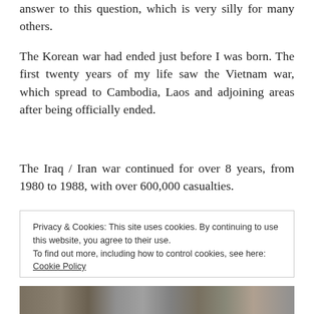answer to this question, which is very silly for many others.
The Korean war had ended just before I was born. The first twenty years of my life saw the Vietnam war, which spread to Cambodia, Laos and adjoining areas after being officially ended.
The Iraq / Iran war continued for over 8 years, from 1980 to 1988, with over 600,000 casualties.
Privacy & Cookies: This site uses cookies. By continuing to use this website, you agree to their use.
To find out more, including how to control cookies, see here: Cookie Policy
[Figure (photo): Partial view of a photograph showing what appears to be a historical or war-related scene, cropped at the bottom of the page.]